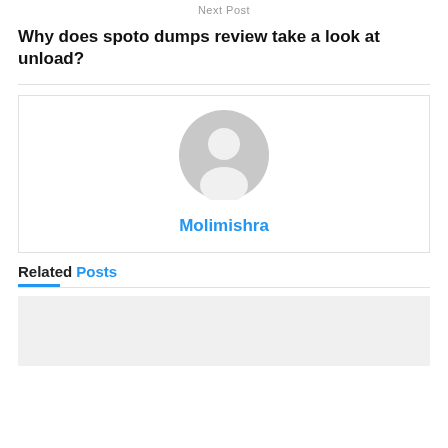Next Post
Why does spoto dumps review take a look at unload?
[Figure (illustration): Default user avatar placeholder – grey circle with white silhouette of a person (head and shoulders)]
Molimishra
Related Posts
[Figure (photo): Light grey placeholder image for a related post thumbnail]